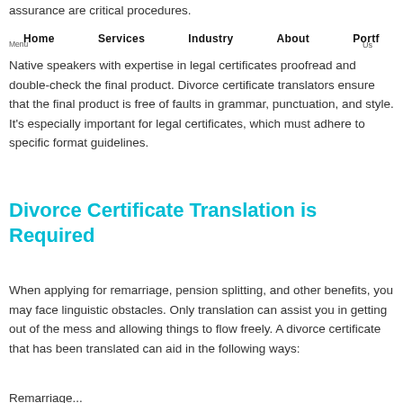assurance are critical procedures.
Menu  Home  Services  Industry  About  Portf  Us
Native speakers with expertise in legal certificates proofread and double-check the final product. Divorce certificate translators ensure that the final product is free of faults in grammar, punctuation, and style. It's especially important for legal certificates, which must adhere to specific format guidelines.
Divorce Certificate Translation is Required
When applying for remarriage, pension splitting, and other benefits, you may face linguistic obstacles. Only translation can assist you in getting out of the mess and allowing things to flow freely. A divorce certificate that has been translated can aid in the following ways:
Remarriage...